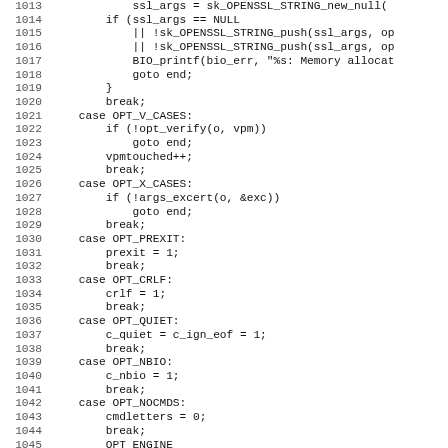[Figure (screenshot): Source code listing showing C code lines 1013-1045, monospace font with line numbers on the left. Code shows SSL/OpenSSL related switch-case handling including OPT_V_CASES, OPT_X_CASES, OPT_PREXIT, OPT_CRLF, OPT_QUIET, OPT_NBIO, OPT_NOCMDS cases.]